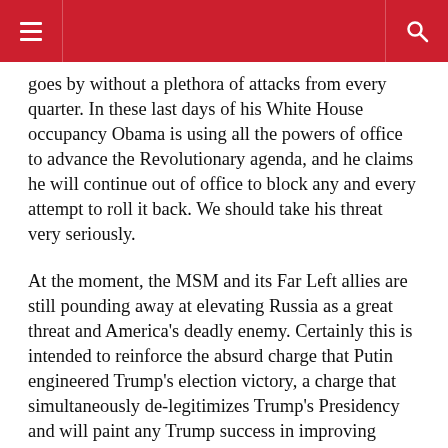[hamburger menu icon] [search icon]
goes by without a plethora of attacks from every quarter. In these last days of his White House occupancy Obama is using all the powers of office to advance the Revolutionary agenda, and he claims he will continue out of office to block any and every attempt to roll it back. We should take his threat very seriously.
At the moment, the MSM and its Far Left allies are still pounding away at elevating Russia as a great threat and America's deadly enemy. Certainly this is intended to reinforce the absurd charge that Putin engineered Trump's election victory, a charge that simultaneously de-legitimizes Trump's Presidency and will paint any Trump success in improving America-Russian relationships as evidence of